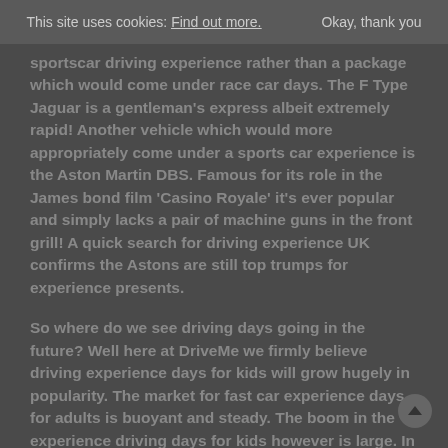This site uses cookies: Find out more. Okay, thank you
sportscar driving experience rather than a package which would come under race car days. The F Type Jaguar is a gentleman's express albeit extremely rapid! Another vehicle which would more appropriately come under a sports car experience is the Aston Martin DBS. Famous for its role in the James bond film 'Casino Royale' it's ever popular and simply lacks a pair of machine guns in the front grill! A quick search for driving experience UK confirms the Astons are still top trumps for experience presents.
So where do we see driving days going in the future? Well here at DriveMe we firmly believe driving experience days for kids will grow hugely in popularity. The market for fast car experience days for adults is buoyant and steady. The boom in the experience driving days for kids however is large. In this sector the Lamborghini driving experience is apparently the most popular search term on the internet closely followed by the Jaguar F type driving experience. Together with the Aston Martin DBS experience it seems our customers are turning p